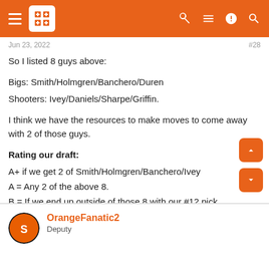Navigation bar with hamburger menu, site logo, and icons
Jun 23, 2022   #28
So I listed 8 guys above:

Bigs: Smith/Holmgren/Banchero/Duren
Shooters: Ivey/Daniels/Sharpe/Griffin.

I think we have the resources to make moves to come away with 2 of those guys.

Rating our draft:
A+ if we get 2 of Smith/Holmgren/Banchero/Ivey
A = Any 2 of the above 8.
B = If we end up outside of those 8 with our #12 pick.

Crossing my fingers. Don't ever recall having as much anticipation for the NBA draft as I have tonight. Keeping in mind that I had Thunder season tickets the first 11-years they have been in OKC....
OrangeFanatic2
Deputy